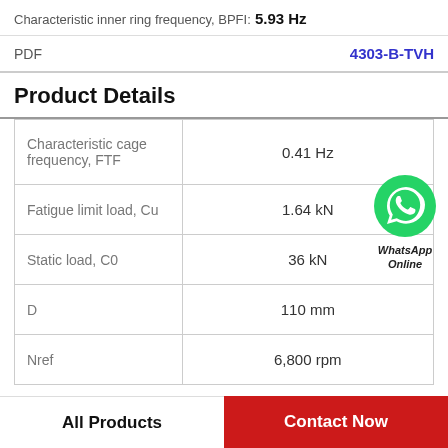Characteristic inner ring frequency, BPFI: 5.93 Hz
PDF    4303-B-TVH
Product Details
| Property | Value |
| --- | --- |
| Characteristic cage frequency, FTF | 0.41 Hz |
| Fatigue limit load, Cu | 1.64 kN |
| Static load, C0 | 36 kN |
| D | 110 mm |
| Nref | 6,800 rpm |
[Figure (logo): WhatsApp Online badge with green phone icon]
All Products
Contact Now